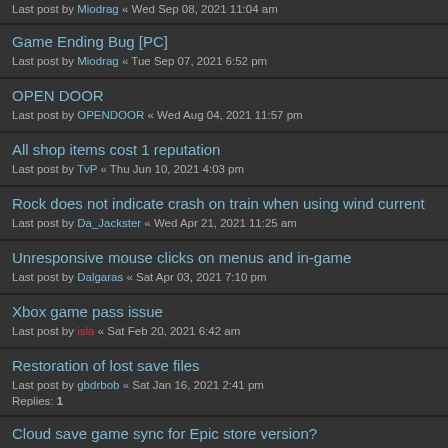Last post by Miodrag « Wed Sep 08, 2021 11:04 am
Game Ending Bug [PC]
Last post by Miodrag « Tue Sep 07, 2021 6:52 pm
OPEN DOOR
Last post by OPENDOOR « Wed Aug 04, 2021 11:57 pm
All shop items cost 1 reputation
Last post by TvP « Thu Jun 10, 2021 4:03 pm
Rock does not indicate crash on train when using wind current
Last post by Da_Jackster « Wed Apr 21, 2021 11:25 am
Unresponsive mouse clicks on menus and in-game
Last post by Dalgaras « Sat Apr 03, 2021 7:10 pm
Xbox game pass issue
Last post by isla « Sat Feb 20, 2021 6:42 am
Restoration of lost save files
Last post by gbdrbob « Sat Jan 16, 2021 2:41 pm
Replies: 1
Cloud save game sync for Epic store version?
Last post by gbdrbob « Mon Jan 11, 2021 7:19 pm